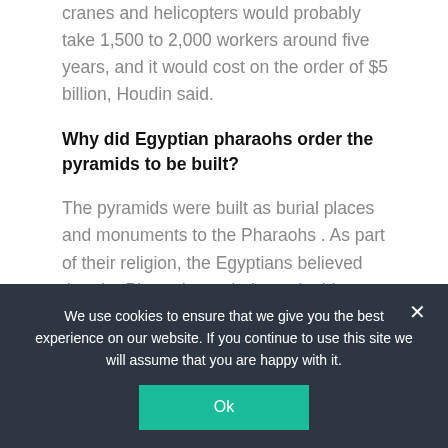cranes and helicopters would probably take 1,500 to 2,000 workers around five years, and it would cost on the order of $5 billion, Houdin said.
Why did Egyptian pharaohs order the pyramids to be built?
The pyramids were built as burial places and monuments to the Pharaohs . As part of their religion, the Egyptians believed that the Pharaoh needed certain things to succeed in the afterlife. Deep inside the pyramid the
We use cookies to ensure that we give you the best experience on our website. If you continue to use this site we will assume that you are happy with it.